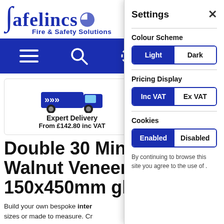[Figure (screenshot): Safelincs Fire & Safety Solutions website logo with stylized S curl and company name in dark blue]
[Figure (screenshot): Dark blue navigation bar with hamburger menu, search magnifying glass, and settings gear icons]
[Figure (screenshot): Delivery card showing a blue delivery van with Expert Delivery From £142.80 inc VAT text]
Expert Delivery
From £142.80 inc VAT
Double 30 Minute Fi... Walnut Veneer and 1... 150x450mm glass p...
Build your own bespoke inter... sizes or made to measure. Cr...
[Figure (screenshot): Settings overlay panel with Colour Scheme (Light/Dark toggle), Pricing Display (Inc VAT/Ex VAT toggle), Cookies (Enabled/Disabled toggle), and cookie consent text]
Settings
Colour Scheme
Light
Dark
Pricing Display
Inc VAT
Ex VAT
Cookies
Enabled
Disabled
By continuing to browse this site you agree to the use of .